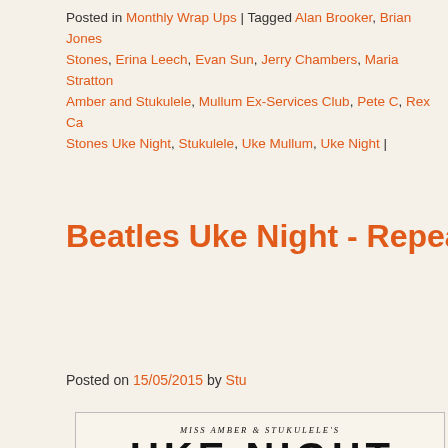Posted in Monthly Wrap Ups | Tagged Alan Brooker, Brian Jones Stones, Erina Leech, Evan Sun, Jerry Chambers, Maria Stratton, Amber and Stukulele, Mullum Ex-Services Club, Pete C, Rex Ca Stones Uke Night, Stukulele, Uke Mullum, Uke Night |
Beatles Uke Night - Repeat Performa
Posted on 15/05/2015 by Stu
[Figure (illustration): Event poster for Miss Amber & Stukulele's Uke Night featuring the Beatles theme. Shows large bold text UKE NIGHT with performers listed: RAKU O'GAIA, GUY KACHEL, FIONA KN... and large Beatles-style lettering showing 'B The Beatles' partially cropped.]